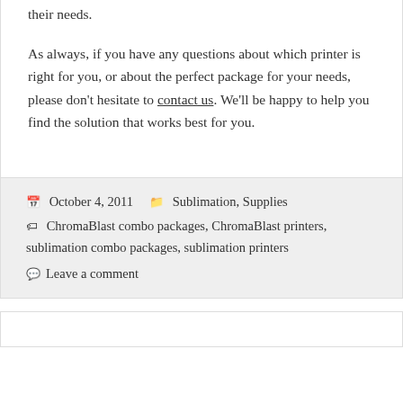their needs.
As always,  if you have any questions about which printer is right for you,  or about the perfect package for your needs, please don't hesitate to contact us. We'll be happy to help you find the solution that works best for you.
October 4, 2011   Sublimation, Supplies
ChromaBlast combo packages, ChromaBlast printers, sublimation combo packages, sublimation printers
Leave a comment